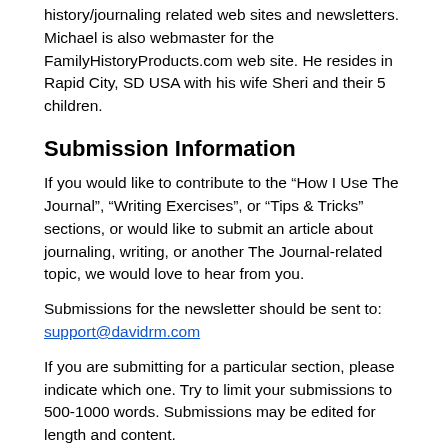history/journaling related web sites and newsletters. Michael is also webmaster for the FamilyHistoryProducts.com web site. He resides in Rapid City, SD USA with his wife Sheri and their 5 children.
Submission Information
If you would like to contribute to the “How I Use The Journal”, “Writing Exercises”, or “Tips & Tricks” sections, or would like to submit an article about journaling, writing, or another The Journal-related topic, we would love to hear from you.
Submissions for the newsletter should be sent to:
support@davidrm.com
If you are submitting for a particular section, please indicate which one. Try to limit your submissions to 500-1000 words. Submissions may be edited for length and content.
If you prefer to remain anonymous, please state this in the email. Otherwise your name (but not your email) will be used